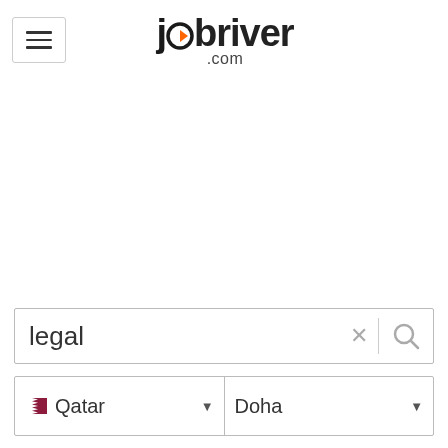[Figure (logo): Jobriver.com logo with hamburger menu button on the left. The logo text reads 'jobriver' with an orange arrow/dot integrated into the 'o', and '.com' below in smaller text.]
legal
Qatar  Doha